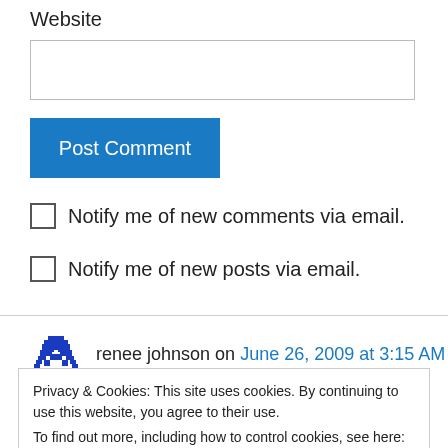Website
[Figure (screenshot): Text input field for Website URL]
[Figure (screenshot): Blue 'Post Comment' button]
Notify me of new comments via email.
Notify me of new posts via email.
renee johnson on June 26, 2009 at 3:15 AM
Privacy & Cookies: This site uses cookies. By continuing to use this website, you agree to their use. To find out more, including how to control cookies, see here: Cookie Policy
Close and accept
no one up there